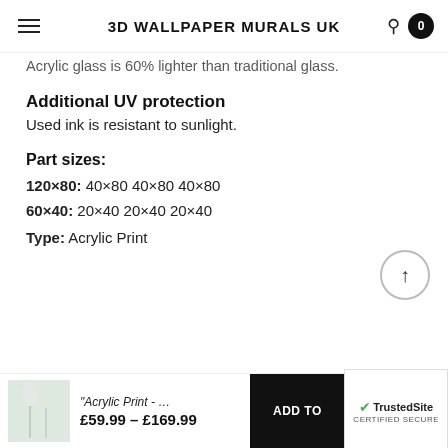3D WALLPAPER MURALS UK
Acrylic glass is 60% lighter than traditional glass.
Additional UV protection
Used ink is resistant to sunlight.
Part sizes:
120×80: 40×80 40×80 40×80
60×40: 20×40 20×40 20×40
Type: Acrylic Print
"Acrylic Print - ... £59.99 – £169.99  ADD TO  TrustedSite CERTIFIED SECURE